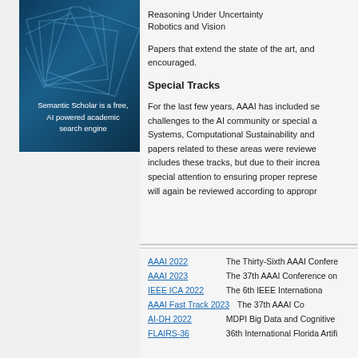[Figure (illustration): Semantic Scholar logo/banner with blue geometric squares background and text overlay reading 'Semantic Scholar is a free, AI powered academic search engine']
Reasoning Under Uncertainty
Robotics and Vision
Papers that extend the state of the art, and encouraged.
Special Tracks
For the last few years, AAAI has included se challenges to the AI community or special a Systems, Computational Sustainability and papers related to these areas were reviewe includes these tracks, but due to their increa special attention to ensuring proper represe will again be reviewed according to appropr
AAAI 2022    The Thirty-Sixth AAAI Confere
AAAI 2023    The 37th AAAI Conference on
IEEE ICA 2022    The 6th IEEE Internationa
AAAI Fast Track 2023    The 37th AAAI Co
AI-DH 2022    MDPI Big Data and Cognitive
FLAIRS-36    36th International Florida Artifi